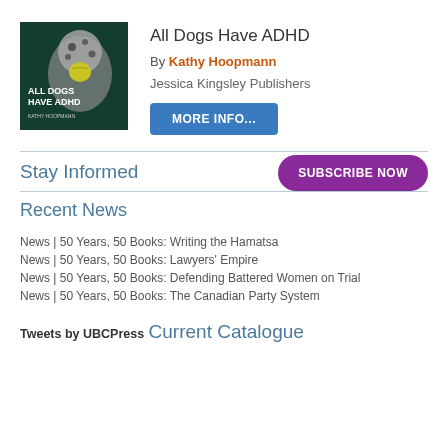[Figure (photo): Book cover of 'All Dogs Have ADHD' showing a Dalmatian dog with a yellow tennis ball in its mouth against a dark teal background, with white text overlaid.]
All Dogs Have ADHD
By Kathy Hoopmann
Jessica Kingsley Publishers
MORE INFO...
Stay Informed
SUBSCRIBE NOW
Recent News
News | 50 Years, 50 Books: Writing the Hamatsa
News | 50 Years, 50 Books: Lawyers' Empire
News | 50 Years, 50 Books: Defending Battered Women on Trial
News | 50 Years, 50 Books: The Canadian Party System
Tweets by UBCPress
Current Catalogue